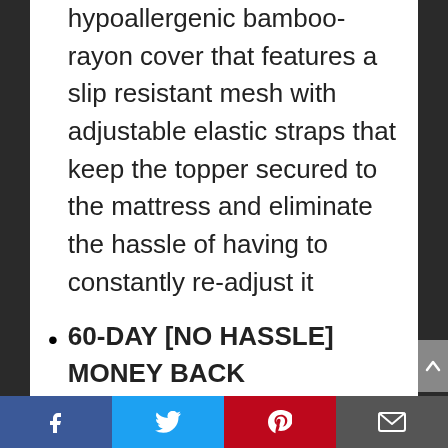hypoallergenic bamboo-rayon cover that features a slip resistant mesh with adjustable elastic straps that keep the topper secured to the mattress and eliminate the hassle of having to constantly re-adjust it
60-DAY [NO HASSLE] MONEY BACK GUARANTEE- As a leading USA-based brand, we stand behind everything we make 100% and are committed to providing you with premium products for improving your quality of life. In the unlikely event you change your mind, you're welcome to return your
Social share bar: Facebook, Twitter, Pinterest, Email